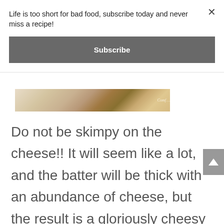Life is too short for bad food, subscribe today and never miss a recipe!
Subscribe
[Figure (photo): Partial food photograph strip showing a dish with colorful ingredients, partially cropped at top of the visible area]
Do not be skimpy on the cheese!! It will seem like a lot, and the batter will be thick with an abundance of cheese, but the result is a gloriously cheesy muffin. It